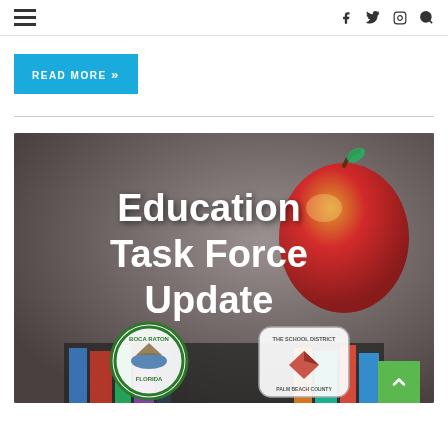☰  [navigation icons: facebook, twitter, instagram, search]
READ MORE »
[Figure (screenshot): Education Task Force Update banner image with dark blurred background showing books and a red apple. Contains text 'Education Task Force Update' in white bold font. Two logos at bottom: Boca Raton Florida city seal and The School District Palm Beach County logo. Green back-to-top button at bottom right.]